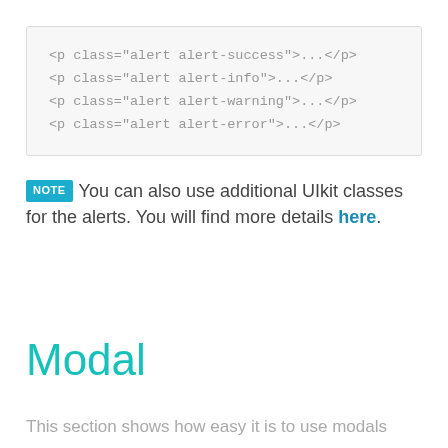[Figure (screenshot): Code block showing HTML alert class examples: <p class="alert alert-success">...</p>, <p class="alert alert-info">...</p>, <p class="alert alert-warning">...</p>, <p class="alert alert-error">...</p>]
NOTE You can also use additional UIkit classes for the alerts. You will find more details here.
Modal
This section shows how easy it is to use modals